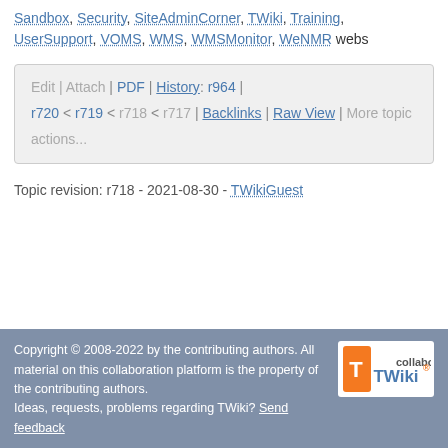Sandbox, Security, SiteAdminCorner, TWiki, Training, UserSupport, VOMS, WMS, WMSMonitor, WeNMR webs
Edit | Attach | PDF | History: r964 | r720 < r719 < r718 < r717 | Backlinks | Raw View | More topic actions...
Topic revision: r718 - 2021-08-30 - TWikiGuest
Copyright © 2008-2022 by the contributing authors. All material on this collaboration platform is the property of the contributing authors. Ideas, requests, problems regarding TWiki? Send feedback